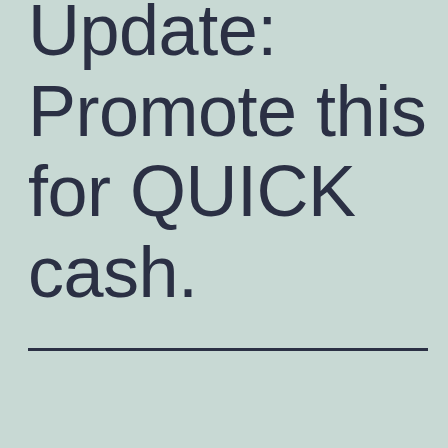Bootcamp Update: Promote this for QUICK cash.